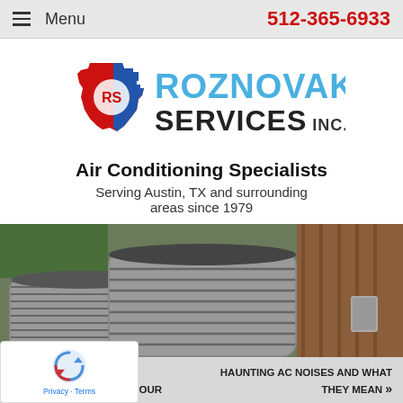Menu   512-365-6933
[Figure (logo): Roznovak's Services Inc. logo with Texas state shape in red/blue and RS initials, with stylized blue lettering for ROZNOVAK'S SERVICES INC.]
Air Conditioning Specialists
Serving Austin, TX and surrounding areas since 1979
[Figure (photo): Outdoor HVAC air conditioning condenser units against a wooden fence with greenery in background]
« WHAT DOES A FAILING CAPACITOR MEAN FOR YOUR
HAUNTING AC NOISES AND WHAT THEY MEAN »